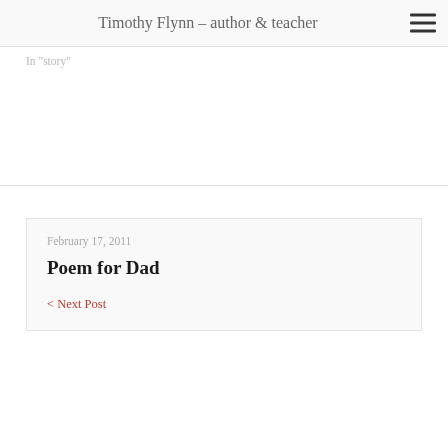Timothy Flynn – author & teacher
In "story"
February 17, 2011
Poem for Dad
< Next Post